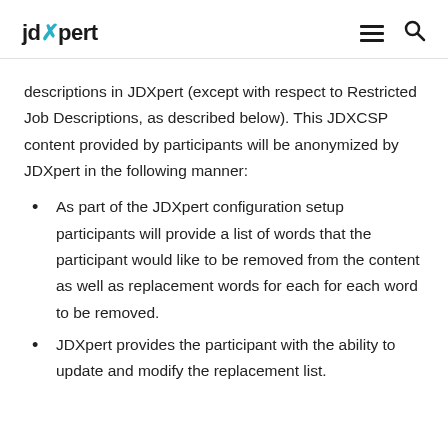JDXpert
descriptions in JDXpert (except with respect to Restricted Job Descriptions, as described below). This JDXCSP content provided by participants will be anonymized by JDXpert in the following manner:
As part of the JDXpert configuration setup participants will provide a list of words that the participant would like to be removed from the content as well as replacement words for each for each word to be removed.
JDXpert provides the participant with the ability to update and modify the replacement list.